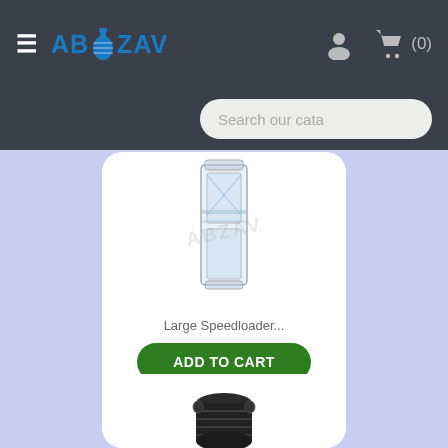ABZAV - navigation header with hamburger menu, logo, user icon, cart (0)
Search our cata
[Figure (photo): Transparent/clear plastic large speedloader magazine product photo with ABZAV watermark]
Large Speedloader...
ADD TO CART
€19.90
[Figure (photo): Partial view of a second product (dark/black cylindrical magazine) at the bottom of the page]